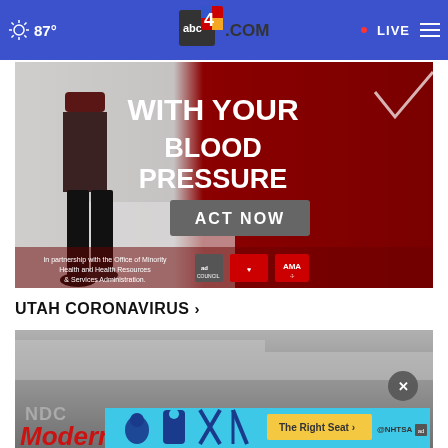87° abc4.com LIVE
[Figure (photo): Advertisement banner: 'WITH YOUR BLOOD PRESSURE - ACT NOW' in partnership with the Office of Minority Health and Health Resources & Services Administration. Features a person in black pants with AMA and American Heart Association logos.]
UTAH CORONAVIRUS ›
[Figure (screenshot): Video thumbnail showing a blurry gray image, partially showing 'NDC' text and a red 'Moderna' logo at the bottom, with a close (X) button overlay and a NHTSA 'The Right Seat >' advertisement at the bottom in blue and yellow.]